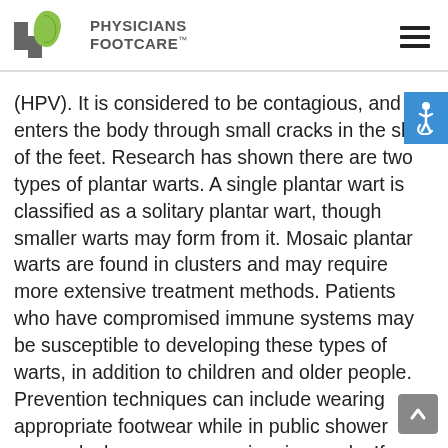PHYSICIANS FOOTCARE™
(HPV). It is considered to be contagious, and enters the body through small cracks in the skin of the feet. Research has shown there are two types of plantar warts. A single plantar wart is classified as a solitary plantar wart, though smaller warts may form from it. Mosaic plantar warts are found in clusters and may require more extensive treatment methods. Patients who have compromised immune systems may be susceptible to developing these types of warts, in addition to children and older people. Prevention techniques can include wearing appropriate footwear while in public shower rooms, locker rooms, or swimming pools. If you think you